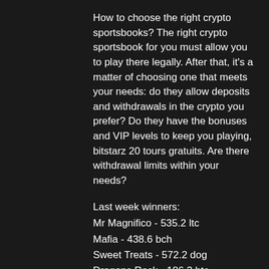How to choose the right crypto sportsbooks? The right crypto sportsbook for you must allow you to play there legally. After that, it's a matter of choosing one that meets your needs: do they allow deposits and withdrawals in the crypto you prefer? Do they have the bonuses and VIP levels to keep you playing, bitstarz 20 tours gratuits. Are there withdrawal limits within your needs?
Last week winners:
Mr Magnifico - 535.2 ltc
Mafia - 438.6 bch
Sweet Treats - 572.2 dog
Dragons Rock - 186.3 btc
Ocean Treasure - 643.4 eth
Win And Replay - 60.9 bch
Strike Gold - 139.8 dog
Double Wammy - 614 btc
King Tiger - 206.2 bch